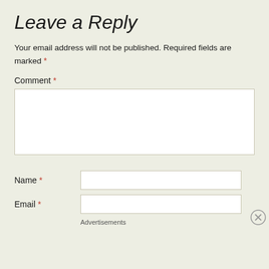Leave a Reply
Your email address will not be published. Required fields are marked *
Comment *
Name *
Email *
Advertisements